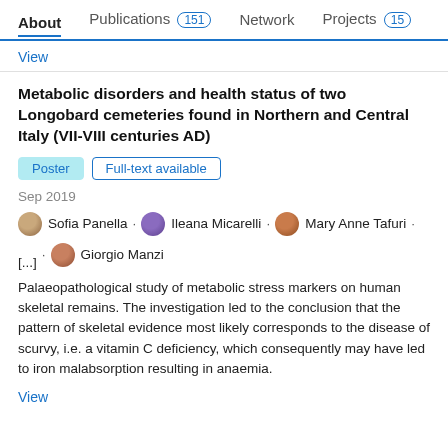About   Publications 151   Network   Projects 15
View
Metabolic disorders and health status of two Longobard cemeteries found in Northern and Central Italy (VII-VIII centuries AD)
Poster   Full-text available
Sep 2019
Sofia Panella . Ileana Micarelli . Mary Anne Tafuri . [...] . Giorgio Manzi
Palaeopathological study of metabolic stress markers on human skeletal remains. The investigation led to the conclusion that the pattern of skeletal evidence most likely corresponds to the disease of scurvy, i.e. a vitamin C deficiency, which consequently may have led to iron malabsorption resulting in anaemia.
View